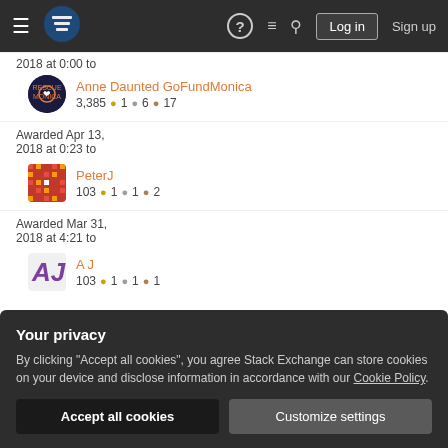Stack Exchange navigation bar with Log in and Sign up buttons
2018 at 0:00 to
Anne Daunted GoFundMonica
3,385 ●1 ●6 ●17
Awarded Apr 13, 2018 at 0:23 to
PeterJ
103 ●1 ●1 ●2
Awarded Mar 31, 2018 at 4:21 to
A J
103 ●1 ●1 ●1
Your privacy
By clicking "Accept all cookies", you agree Stack Exchange can store cookies on your device and disclose information in accordance with our Cookie Policy.
Accept all cookies   Customize settings
Awarded Oct 1,